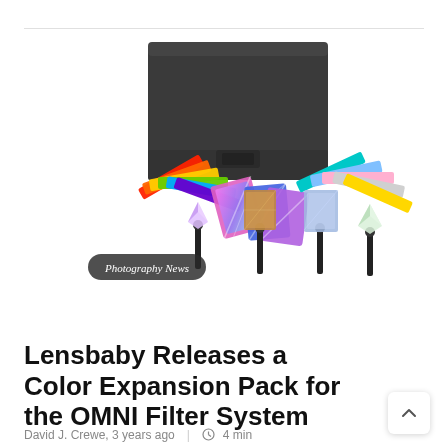[Figure (photo): Product photo of Lensbaby OMNI Color Expansion Pack: a dark grey felt pouch/case, colorful gel filter sheets fanned out (rainbow, holographic, teal/gold), and four wand-style filter tools with holographic crystal pendants. A dark pill-shaped badge reads 'Photography News' overlaid on the image.]
Lensbaby Releases a Color Expansion Pack for the OMNI Filter System
David J. Crewe, 3 years ago  |  4 min